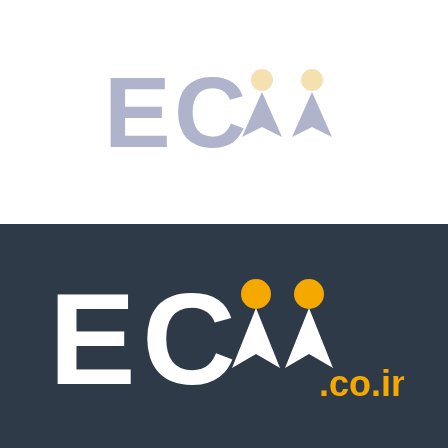[Figure (logo): ECVV logo in light gray/lavender color with two small peach/cream colored circular dots above the letter V characters, on white background]
[Figure (logo): ECVV.co.in logo in white text with two orange circular dots above the letter V characters, on dark navy background, with '.co.in' in orange text]